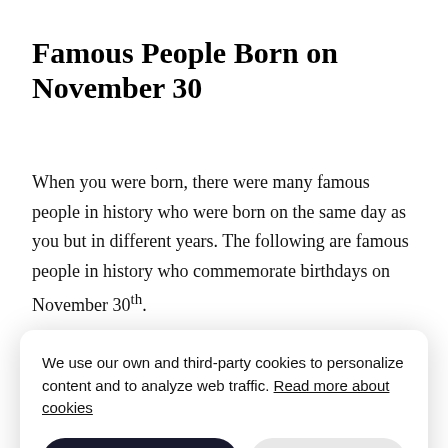Famous People Born on November 30
When you were born, there were many famous people in history who were born on the same day as you but in different years. The following are famous people in history who commemorate birthdays on November 30th.
[Figure (screenshot): Cookie consent dialog overlay on top of a partially visible table. The dialog reads: 'We use our own and third-party cookies to personalize content and to analyze web traffic. Read more about cookies' with buttons 'Accept cookies' and 'Reject'. Behind the overlay, a table row partially shows 'vist' on the right and 'chor' below it. At the very bottom, a table row partially shows '1683' and 'Ludwig Andreas von Khevenhüller'.]